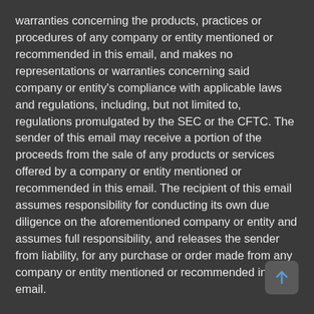warranties concerning the products, practices or procedures of any company or entity mentioned or recommended in this email, and makes no representations or warranties concerning said company or entity's compliance with applicable laws and regulations, including, but not limited to, regulations promulgated by the SEC or the CFTC. The sender of this email may receive a portion of the proceeds from the sale of any products or services offered by a company or entity mentioned or recommended in this email. The recipient of this email assumes responsibility for conducting its own due diligence on the aforementioned company or entity and assumes full responsibility, and releases the sender from liability, for any purchase or order made from any company or entity mentioned or recommended in this email.
The content on any of theamericaninvestordaily.com websites, products or communication is for educational purposes only. Nothing in its products, services, or